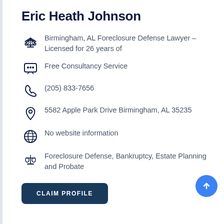Eric Heath Johnson
Birmingham, AL Foreclosure Defense Lawyer - Licensed for 26 years of
Free Consultancy Service
(205) 833-7656
5582 Apple Park Drive Birmingham, AL 35235
No website information
Foreclosure Defense, Bankruptcy, Estate Planning and Probate
CLAIM PROFILE